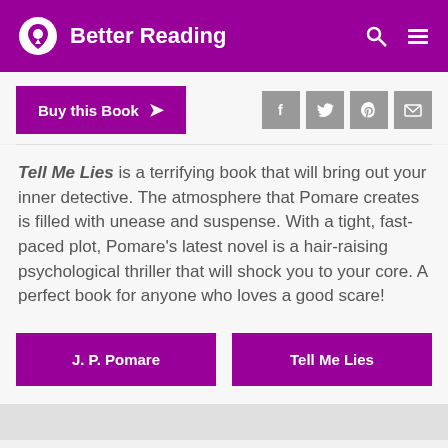Better Reading
Buy this Book ❯
Tell Me Lies is a terrifying book that will bring out your inner detective. The atmosphere that Pomare creates is filled with unease and suspense. With a tight, fast-paced plot, Pomare's latest novel is a hair-raising psychological thriller that will shock you to your core. A perfect book for anyone who loves a good scare!
J. P. Pomare
Tell Me Lies